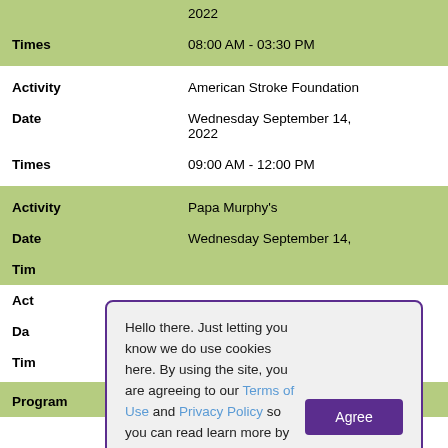| Field | Value |
| --- | --- |
| Times | 08:00 AM - 03:30 PM |
| Activity | American Stroke Foundation |
| Date | Wednesday September 14, 2022 |
| Times | 09:00 AM - 12:00 PM |
| Activity | Papa Murphy's |
| Date | Wednesday September 14, |
| Times |  |
| Activity |  |
| Date |  |
| Times |  |
| Program | 9AM MWF Water Aerobics |
Hello there. Just letting you know we do use cookies here. By using the site, you are agreeing to our Terms of Use and Privacy Policy so you can read learn more by clicking on them. That's all - back to the fun!